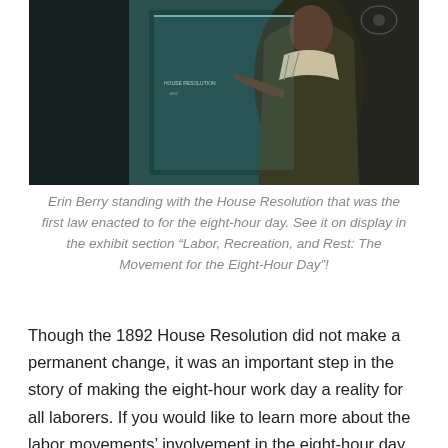[Figure (photo): Erin Berry standing at a display case or exhibit, pointing with one hand, wearing a dark coat with a patterned scarf. The exhibit space has a teal/dark background.]
Erin Berry standing with the House Resolution that was the first law enacted to for the eight-hour day. See it on display in the exhibit section “Labor, Recreation, and Rest: The Movement for the Eight-Hour Day”!
Though the 1892 House Resolution did not make a permanent change, it was an important step in the story of making the eight-hour work day a reality for all laborers. If you would like to learn more about the labor movements’ involvement in the eight-hour day, come